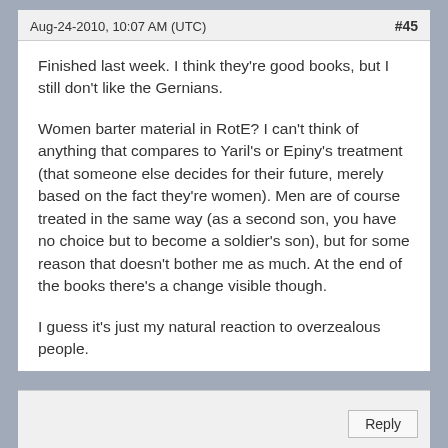Aug-24-2010, 10:07 AM (UTC)    #45
Finished last week. I think they're good books, but I still don't like the Gernians.
Women barter material in RotE? I can't think of anything that compares to Yaril's or Epiny's treatment (that someone else decides for their future, merely based on the fact they're women). Men are of course treated in the same way (as a second son, you have no choice but to become a soldier's son), but for some reason that doesn't bother me as much. At the end of the books there's a change visible though.
I guess it's just my natural reaction to overzealous people.